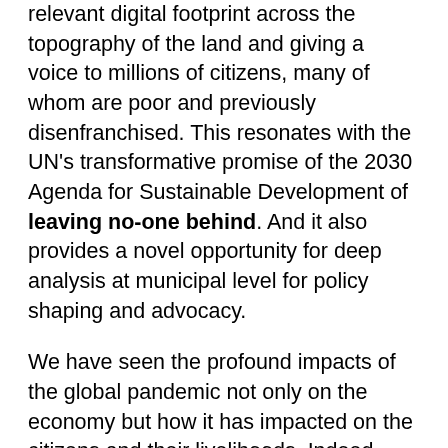relevant digital footprint across the topography of the land and giving a voice to millions of citizens, many of whom are poor and previously disenfranchised. This resonates with the UN's transformative promise of the 2030 Agenda for Sustainable Development of leaving no-one behind. And it also provides a novel opportunity for deep analysis at municipal level for policy shaping and advocacy.
We have seen the profound impacts of the global pandemic not only on the economy but how it has impacted on the citizens and their livelihoods. Indeed, South Africa has endured its worst recession in a century last year as coronavirus-induced lockdowns weighed heavily on economic activity, forcing many businesses to shut down and leaving millions unemployed. Furthermore, gender-based violence,